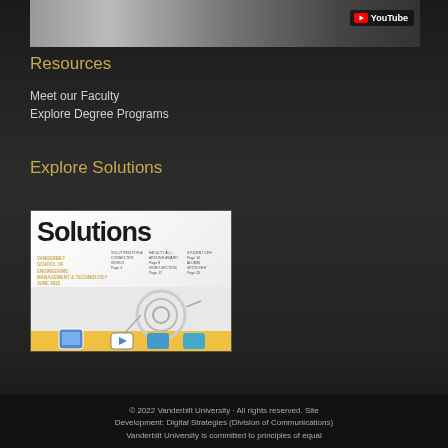[Figure (photo): Top banner showing people / video thumbnail with YouTube logo badge in upper right]
Resources
Meet our Faculty
Explore Degree Programs
Explore Solutions
[Figure (photo): Solutions magazine cover - Vanderbilt School of Engineering publication, June 2022, with large 'Solutions' text and engineering graphic/diagram]
© 2022 Vanderbilt University · All rights reserved. Site Development: Digital Strategies (Division of Communications) Vanderbilt University is committed to principles of equal